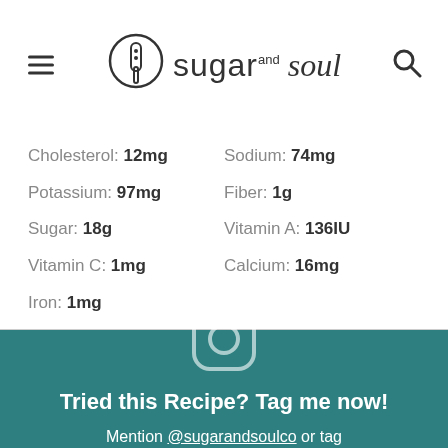sugar and soul
| Cholesterol: 12mg | Sodium: 74mg |
| Potassium: 97mg | Fiber: 1g |
| Sugar: 18g | Vitamin A: 136IU |
| Vitamin C: 1mg | Calcium: 16mg |
| Iron: 1mg |  |
[Figure (logo): Instagram camera icon outline in teal/white on teal background]
Tried this Recipe? Tag me now!
Mention @sugarandsoulco or tag #sugarandsoulco!